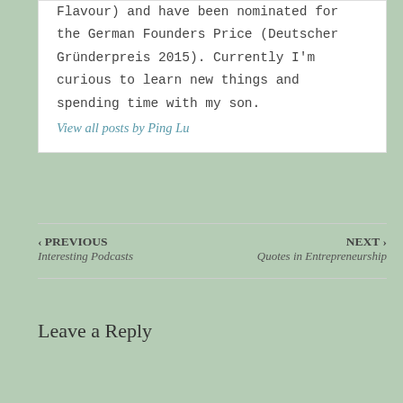Flavour) and have been nominated for the German Founders Price (Deutscher Gründerpreis 2015). Currently I'm curious to learn new things and spending time with my son.
View all posts by Ping Lu
‹ PREVIOUS Interesting Podcasts
NEXT › Quotes in Entrepreneurship
Leave a Reply